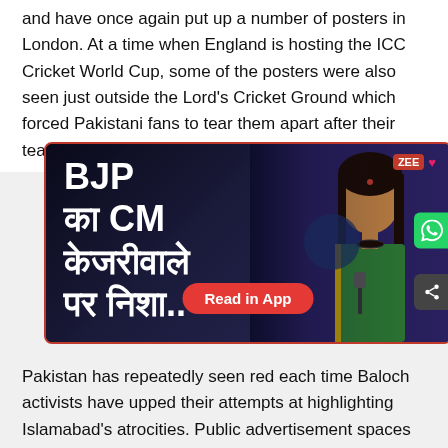and have once again put up a number of posters in London. At a time when England is hosting the ICC Cricket World Cup, some of the posters were also seen just outside the Lord's Cricket Ground which forced Pakistani fans to tear them apart after their team's match against South Africa on Sunday.
[Figure (screenshot): A news video thumbnail from ZEE news showing Hindi text 'BJP का CM केजरीवाले पर निशा..' on a dark background with an image of a woman in a sari, and a 'Read in App' red button overlay.]
Pakistan has repeatedly seen red each time Baloch activists have upped their attempts at highlighting Islamabad's atrocities. Public advertisement spaces have been rented in